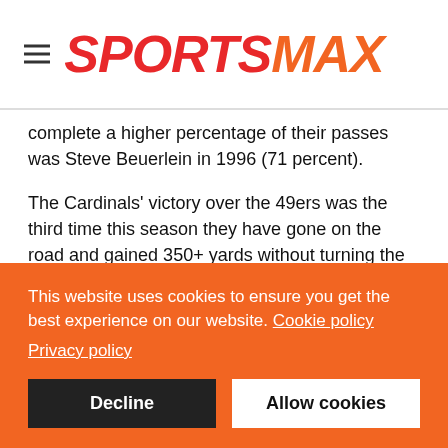SPORTSMAX
complete a higher percentage of their passes was Steve Beuerlein in 1996 (71 percent).
The Cardinals' victory over the 49ers was the third time this season they have gone on the road and gained 350+ yards without turning the ball over. Over the past 70 years, the Cardinals have never had more than two such road games in any season.
Arizona have completed 73.9 percent of passes this season. No
This website uses cookies to ensure you get the best experience on our website. Cookie policy Privacy policy
Decline
Allow cookies